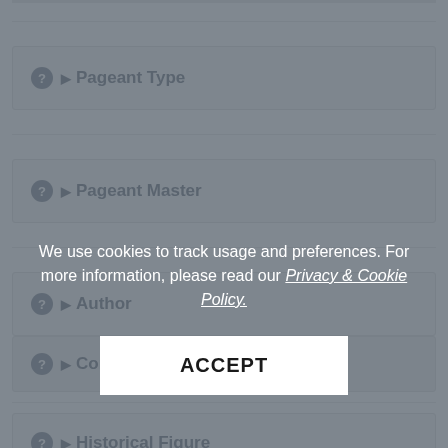? ▶ Pageant Type
? ▶ Pageant Master
? ▶ Author
? ▶ Composer
? ▶ Historical Figure
We use cookies to track usage and preferences. For more information, please read our Privacy & Cookie Policy.
ACCEPT